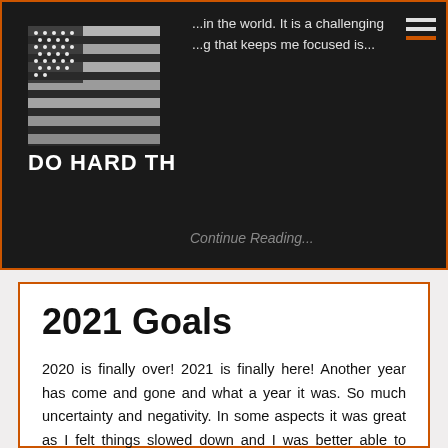[Figure (logo): American flag with distressed/grunge effect and text 'DO HARD THINGS' below it, on dark background]
...in the world. It is a challenging ...g that keeps me focused is...
Continue Reading...
2021 Goals
2020 is finally over! 2021 is finally here! Another year has come and gone and what a year it was. So much uncertainty and negativity. In some aspects it was great as I felt things slowed down and I was better able to connect with my daughters. In other aspects it was...
Continue Reading...